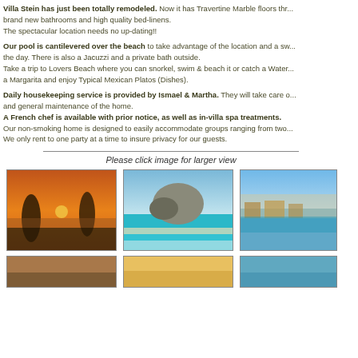Villa Stein has just been totally remodeled. Now it has Travertine Marble floors throughout, brand new bathrooms and high quality bed-linens. The spectacular location needs no up-dating!!
Our pool is cantilevered over the beach to take advantage of the location and a sw... the day. There is also a Jacuzzi and a private bath outside. Take a trip to Lovers Beach where you can snorkel, swim & beach it or catch a Water... a Margarita and enjoy Typical Mexican Platos (Dishes).
Daily housekeeping service is provided by Ismael & Martha. They will take care of... and general maintenance of the home. A French chef is available with prior notice, as well as in-villa spa treatments. Our non-smoking home is designed to easily accommodate groups ranging from two... We only rent to one party at a time to insure privacy for our guests.
Please click image for larger view
[Figure (photo): Sunset view with palm trees and ocean]
[Figure (photo): Aerial view of coastal rock formation and beach]
[Figure (photo): Aerial view of coastal town and marina]
[Figure (photo): Bottom row photo 1]
[Figure (photo): Bottom row photo 2]
[Figure (photo): Bottom row photo 3]